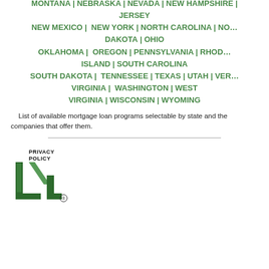MONTANA | NEBRASKA | NEVADA | NEW HAMPSHIRE | NEW JERSEY | NEW MEXICO | NEW YORK | NORTH CAROLINA | NORTH DAKOTA | OHIO | OKLAHOMA | OREGON | PENNSYLVANIA | RHODE ISLAND | SOUTH CAROLINA | SOUTH DAKOTA | TENNESSEE | TEXAS | UTAH | VERMONT | VIRGINIA | WASHINGTON | WEST VIRGINIA | WISCONSIN | WYOMING
List of available mortgage loan programs selectable by state and the companies that offer them.
[Figure (logo): Privacy Policy logo with stylized letter L4L and registered trademark symbol]